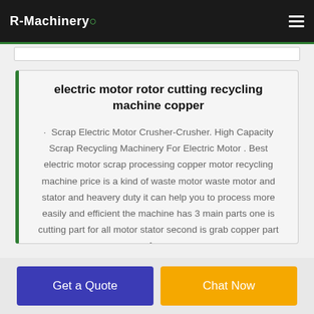R-Machinery
electric motor rotor cutting recycling machine copper
· Scrap Electric Motor Crusher-Crusher. High Capacity Scrap Recycling Machinery For Electric Motor . Best electric motor scrap processing copper motor recycling machine price is a kind of waste motor waste motor and stator and heavery duty it can help you to process more easily and efficient the machine has 3 main parts one is cutting part for all motor stator second is grab copper part from